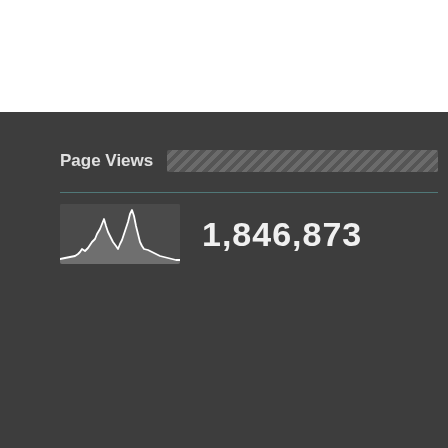Page Views
[Figure (continuous-plot): Small sparkline area chart showing page view trend over time with a notable spike, white line on dark grey background]
1,846,873